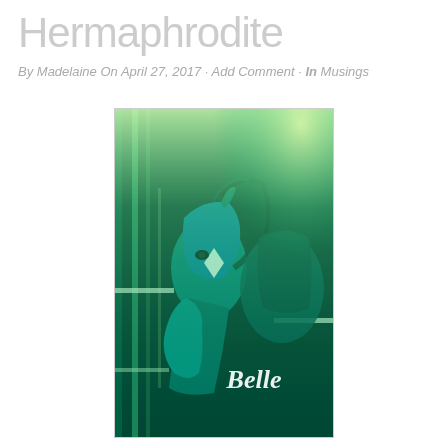Hermaphrodite
By Madelaine On April 27, 2017 · Add Comment · In Musings
[Figure (photo): A horse (named Belle) photographed in a stable/pen area, rendered with a green/teal color filter effect. The horse is looking forward with a white diamond marking on its forehead. Metal bars/fencing visible. The word 'Belle' appears in white italic text in the lower right of the image.]